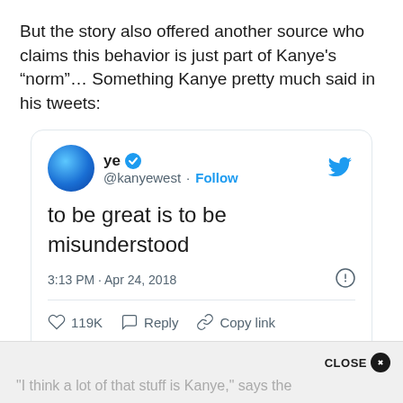But the story also offered another source who claims this behavior is just part of Kanye's “norm”… Something Kanye pretty much said in his tweets:
[Figure (screenshot): Embedded tweet from @kanyewest (ye) with blue verified checkmark. Tweet text: 'to be great is to be misunderstood'. Timestamp: 3:13 PM · Apr 24, 2018. Actions: 119K likes, Reply, Copy link. Button: Read 1.5K replies.]
“I think a lot of that stuff is Kanye,” says the